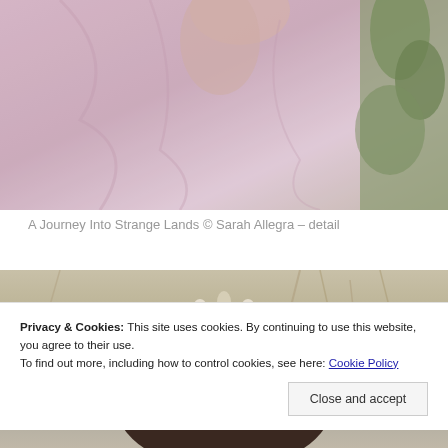[Figure (photo): Cropped photo showing a person in a pink/mauve flowing dress with greenery visible at the right edge — detail shot of fabric and hand]
A Journey Into Strange Lands © Sarah Allegra – detail
[Figure (photo): Photo of a woman wearing an ornate white/silver floral crown headpiece, dark hair, with blurred natural/botanical background in warm tones]
Privacy & Cookies: This site uses cookies. By continuing to use this website, you agree to their use.
To find out more, including how to control cookies, see here: Cookie Policy